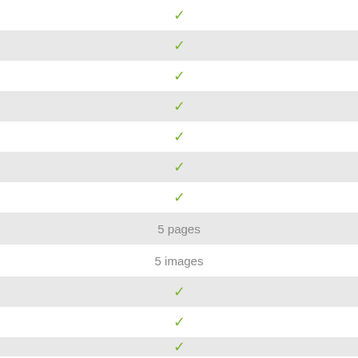✓
✓
✓
✓
✓
✓
✓
5 pages
5 images
✓
✓
✓